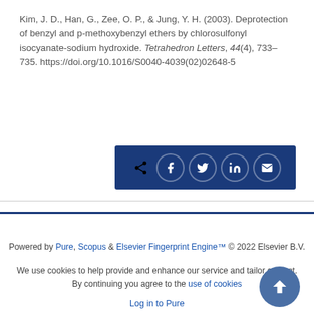Kim, J. D., Han, G., Zee, O. P., & Jung, Y. H. (2003). Deprotection of benzyl and p-methoxybenzyl ethers by chlorosulfonyl isocyanate-sodium hydroxide. Tetrahedron Letters, 44(4), 733-735. https://doi.org/10.1016/S0040-4039(02)02648-5
[Figure (other): Social share button bar with icons: share, Facebook, Twitter, LinkedIn, email]
Powered by Pure, Scopus & Elsevier Fingerprint Engine™ © 2022 Elsevier B.V.
We use cookies to help provide and enhance our service and tailor content. By continuing you agree to the use of cookies
Log in to Pure
Yonsei University data protection policy
About web accessibility